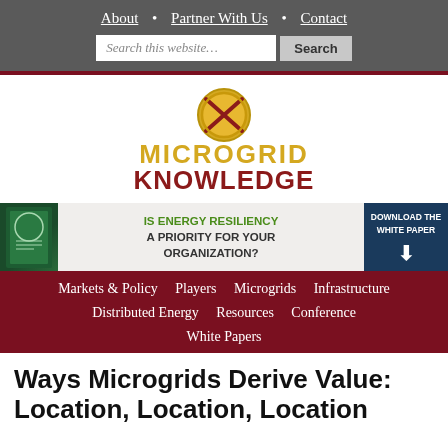About  •  Partner With Us  •  Contact
[Figure (screenshot): Search bar with 'Search this website...' placeholder and Search button]
[Figure (logo): Microgrid Knowledge logo with circular icon above stylized text MICROGRID KNOWLEDGE in gold and dark red]
[Figure (infographic): Banner advertisement: IS ENERGY RESILIENCY A PRIORITY FOR YOUR ORGANIZATION? DOWNLOAD THE WHITE PAPER]
Markets & Policy  Players  Microgrids  Infrastructure  Distributed Energy  Resources  Conference  White Papers
Ways Microgrids Derive Value: Location, Location, Location